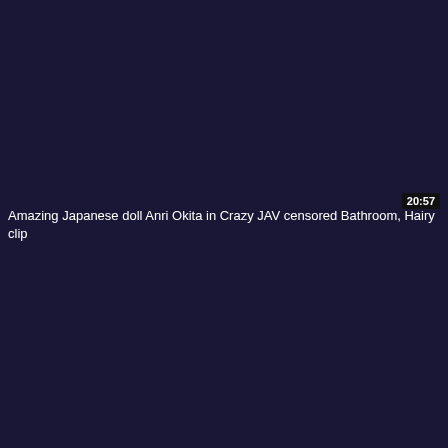[Figure (screenshot): Dark navy/purple background video thumbnail with timestamp overlay showing 20:57 in top right area and video title text at bottom left]
20:57
Amazing Japanese doll Anri Okita in Crazy JAV censored Bathroom, Hairy clip